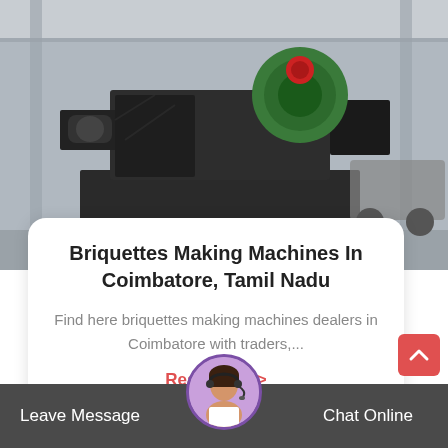[Figure (photo): Industrial briquettes making machine photographed in a factory/warehouse setting. Large black metal machine with green components and a red round part on top.]
Briquettes Making Machines In Coimbatore, Tamil Nadu
Find here briquettes making machines dealers in Coimbatore with traders,...
Read More >
Leave Message   Chat Online